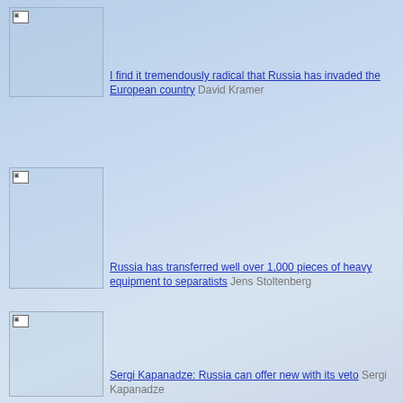[Figure (photo): Thumbnail image placeholder, broken image icon visible]
I find it tremendously radical that Russia has invaded the European country David Kramer
[Figure (photo): Thumbnail image placeholder, broken image icon visible]
Russia has transferred well over 1,000 pieces of heavy equipment to separatists Jens Stoltenberg
[Figure (photo): Thumbnail image placeholder, broken image icon visible]
Sergi Kapanadze: Russia can offer new with its veto Sergi Kapanadze